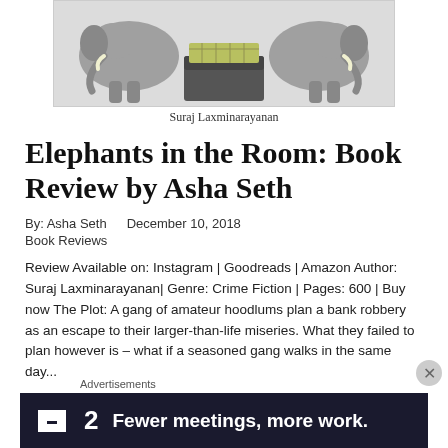[Figure (illustration): Illustration showing elephants carrying a chest/trunk of money, artist credit: Suraj Laxminarayanan]
Suraj Laxminarayanan
Elephants in the Room: Book Review by Asha Seth
By: Asha Seth    December 10, 2018
Book Reviews
Review Available on: Instagram | Goodreads | Amazon Author: Suraj Laxminarayanan| Genre: Crime Fiction | Pages: 600 | Buy now The Plot: A gang of amateur hoodlums plan a bank robbery as an escape to their larger-than-life miseries. What they failed to plan however is – what if a seasoned gang walks in the same day...
Advertisements
[Figure (other): Advertisement banner: icon with 2, text: Fewer meetings, more work.]